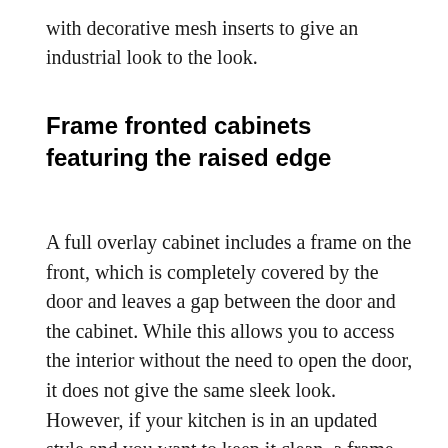with decorative mesh inserts to give an industrial look to the look.
Frame fronted cabinets featuring the raised edge
A full overlay cabinet includes a frame on the front, which is completely covered by the door and leaves a gap between the door and the cabinet. While this allows you to access the interior without the need to open the door, it does not give the same sleek look. However, if your kitchen is in an updated style and you want to keep it clean, a frame-fronted cabinet could be a suitable option.